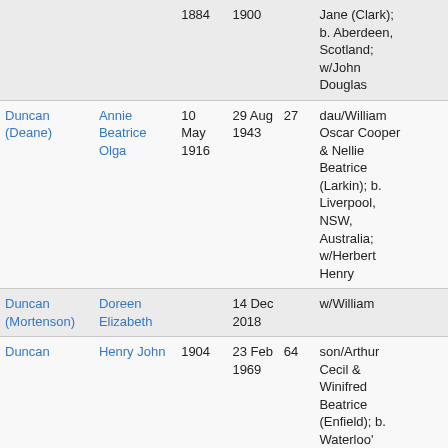| Surname | Given Name | Birth Year | Death Date | Age | Details | More |
| --- | --- | --- | --- | --- | --- | --- |
|  |  | 1884 | 1900 |  | Jane (Clark); b. Aberdeen, Scotland; w/John Douglas |  |
| Duncan (Deane) | Annie Beatrice Olga | 10 May 1916 | 29 Aug 1943 | 27 | dau/William Oscar Cooper & Nellie Beatrice (Larkin); b. Liverpool, NSW, Australia; w/Herbert Henry |  |
| Duncan (Mortenson) | Doreen Elizabeth |  | 14 Dec 2018 |  | w/William |  |
| Duncan | Henry John | 1904 | 23 Feb 1969 | 64 | son/Arthur Cecil & Winifred Beatrice (Enfield); b. Waterloo' NSW, Australia; h/Alice Maud |  |